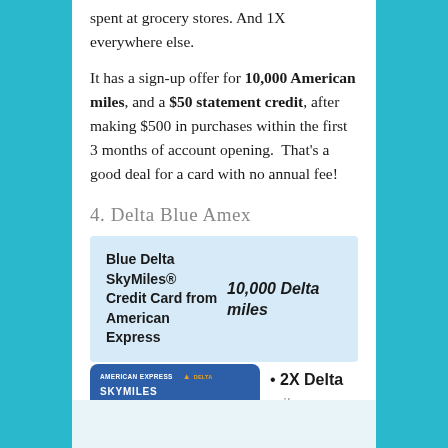spent at grocery stores. And 1X everywhere else.
It has a sign-up offer for 10,000 American miles, and a $50 statement credit, after making $500 in purchases within the first 3 months of account opening.  That's a good deal for a card with no annual fee!
4. Delta Blue Amex
| Card | Offer |
| --- | --- |
| Blue Delta SkyMiles® Credit Card from American Express | 10,000 Delta miles |
[Figure (illustration): Blue Delta SkyMiles American Express credit card image showing AMERICAN EXPRESS and DELTA SKYMILES branding on a blue card]
2X Delta miles per dollar spent at